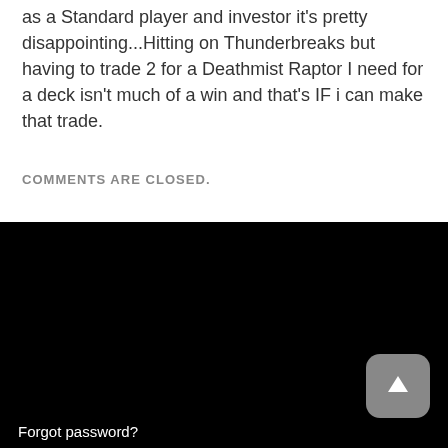as a Standard player and investor it's pretty disappointing...Hitting on Thunderbreaks but having to trade 2 for a Deathmist Raptor I need for a deck isn't much of a win and that's IF i can make that trade.
COMMENTS ARE CLOSED.
[Figure (logo): MTG$ logo — white M|T over G|$ in a blue square on a black background, in a crosshair/plus layout]
Forgot password?